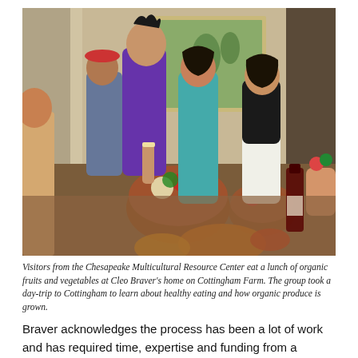[Figure (photo): Group of young people around a dining table with bowls of fresh fruits and vegetables. They are eating lunch inside a nicely decorated home with a painted landscape artwork on the wall behind them.]
Visitors from the Chesapeake Multicultural Resource Center eat a lunch of organic fruits and vegetables at Cleo Braver's home on Cottingham Farm. The group took a day-trip to Cottingham to learn about healthy eating and how organic produce is grown.
Braver acknowledges the process has been a lot of work and has required time, expertise and funding from a